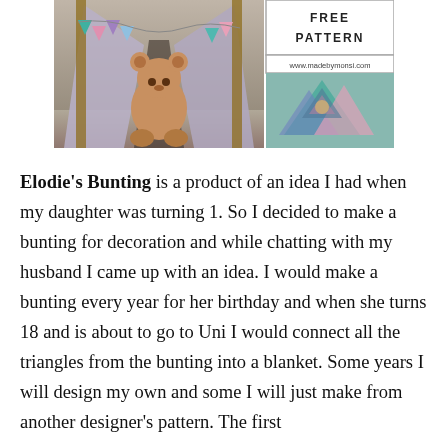[Figure (photo): Composite image showing a fabric tent/teepee with a large teddy bear inside, decorated with colorful crocheted triangle bunting flags. On the right side: a 'FREE PATTERN' label at top, website www.madebymonsi.com in middle, and a close-up photo of crocheted triangle bunting pieces in teal, pink, and purple at bottom.]
Elodie's Bunting is a product of an idea I had when my daughter was turning 1. So I decided to make a bunting for decoration and while chatting with my husband I came up with an idea. I would make a bunting every year for her birthday and when she turns 18 and is about to go to Uni I would connect all the triangles from the bunting into a blanket. Some years I will design my own and some I will just make from another designer's pattern. The first